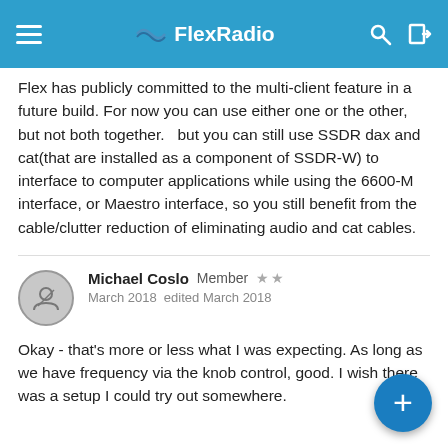FlexRadio
Flex has publicly committed to the multi-client feature in a future build. For now you can use either one or the other, but not both together.   but you can still use SSDR dax and cat(that are installed as a component of SSDR-W) to interface to computer applications while using the 6600-M interface, or Maestro interface, so you still benefit from the cable/clutter reduction of eliminating audio and cat cables.
Michael Coslo  Member  ★★
March 2018  edited March 2018
Okay - that's more or less what I was expecting. As long as we have frequency via the knob control, good. I wish there was a setup I could try out somewhere.